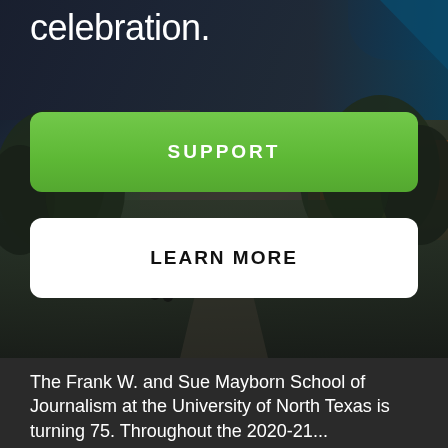celebration.
[Figure (photo): Aerial/overhead view of a university campus with trees and buildings, rendered in partially desaturated tones with teal accent at top right and warm orange building visible mid-right]
SUPPORT
LEARN MORE
The Frank W. and Sue Mayborn School of Journalism at the University of North Texas is turning 75. Throughout the 2020-21...